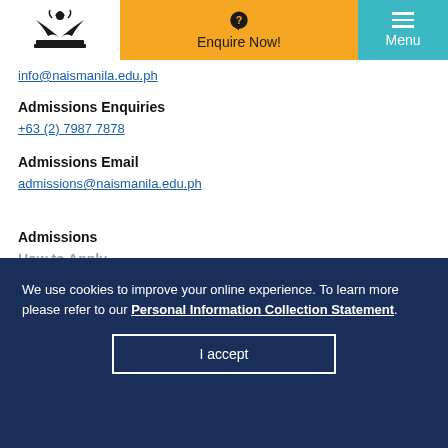Enquire Now! | Menu
info@naismanila.edu.ph
Admissions Enquiries
+63 (2) 7987 7878
Admissions Email
admissions@naismanila.edu.ph
Admissions
How to Apply
We use cookies to improve your online experience. To learn more please refer to our Personal Information Collection Statement.
I accept